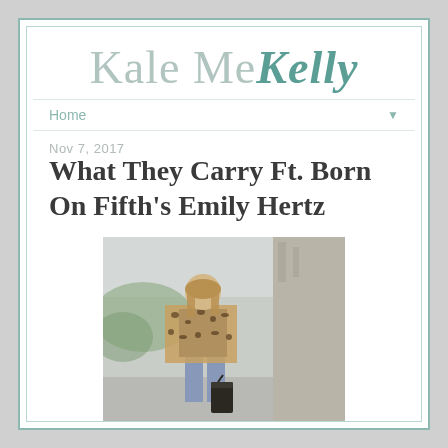Kale Me Kelly
Home
What They Carry Ft. Born On Fifth's Emily Hertz
[Figure (photo): Woman wearing leopard print coat over navy top with light blue jeans, carrying a black bag, standing on a city street]